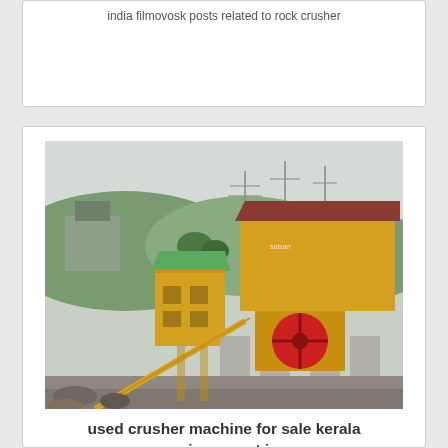india filmovosk posts related to rock crusher
[Figure (photo): Photograph of a used stone crusher machine / plant with yellow machinery, conveyor belts, concrete pillars, green-roofed building, and hilly background]
used crusher machine for sale kerala uniqueevent in
Used Stone Crusher Machine Machine In Kerala small stone